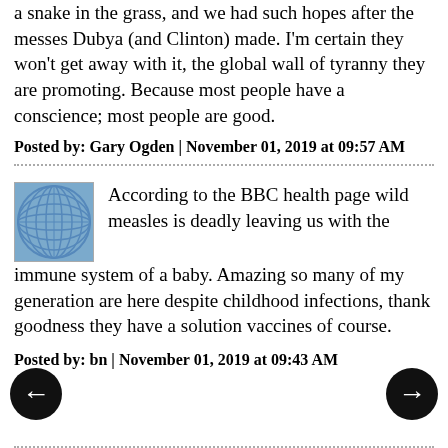a snake in the grass, and we had such hopes after the messes Dubya (and Clinton) made. I'm certain they won't get away with it, the global wall of tyranny they are promoting. Because most people have a conscience; most people are good.
Posted by: Gary Ogden | November 01, 2019 at 09:57 AM
[Figure (illustration): Blue globe/network avatar icon for commenter]
According to the BBC health page wild measles is deadly leaving us with the immune system of a baby. Amazing so many of my generation are here despite childhood infections, thank goodness they have a solution vaccines of course.
Posted by: bn | November 01, 2019 at 09:43 AM